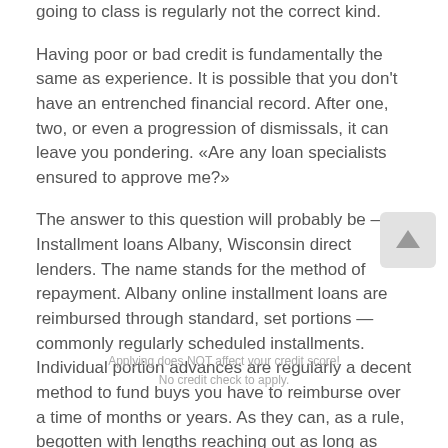going to class is regularly not the correct kind.
Having poor or bad credit is fundamentally the same as experience. It is possible that you don't have an entrenched financial record. After one, two, or even a progression of dismissals, it can leave you pondering. «Are any loan specialists ensured to approve me?»
The answer to this question will probably be – Installment loans Albany, Wisconsin direct lenders. The name stands for the method of repayment. Albany online installment loans are reimbursed through standard, set portions — commonly regularly scheduled installments. Individual portion advances are regularly a decent method to fund buys you have to reimburse over a time of months or years. As they can, as a rule, begotten with lengths reaching out as long as seven years. They are regularly the best financing strategy for bigger buys, too.
Applying does NOT affect your credit score!
No credit check to apply.
Payday installment loans Albany, Wisconsin WI